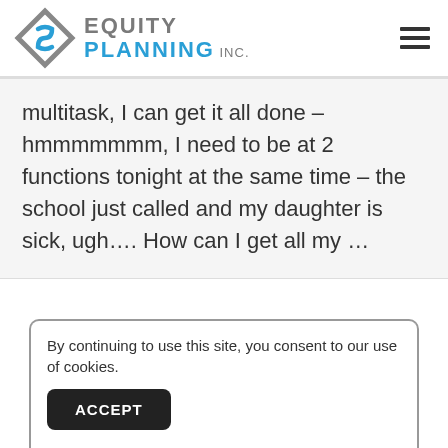EQUITY PLANNING INC.
multitask, I can get it all done – hmmmmmmm, I need to be at 2 functions tonight at the same time – the school just called and my daughter is sick, ugh…. How can I get all my …
By continuing to use this site, you consent to our use of cookies.